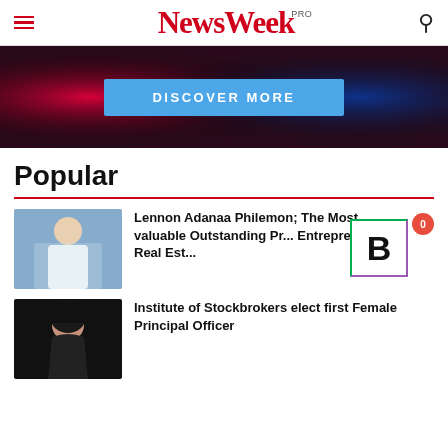NewsWeek PRO
[Figure (photo): Banner image with red/blue gradient background and a 'DISCOVER MORE' button in blue]
Popular
[Figure (photo): Thumbnail photo of a man in white attire at a podium]
Lennon Adanaa Philemon; The Most valuable Outstanding Pr... Entrepreneur of Real Est...
[Figure (photo): Thumbnail photo of a woman with dark hair against dark background]
Institute of Stockbrokers elect first Female Principal Officer